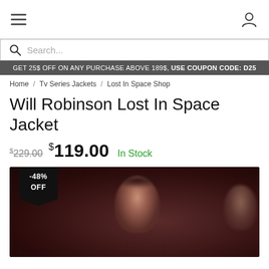Navigation header with hamburger menu and user icon
Search...
GET 25$ OFF ON ANY PURCHASE ABOVE 189$, USE COUPON CODE: D25
Home / Tv Series Jackets / Lost In Space Shop
Will Robinson Lost In Space Jacket
$229.00 $119.00 In Stock
[Figure (photo): Product photo showing actors from Lost In Space TV show in a dark scene, with a -48% OFF badge overlaid on the top-left corner of the image]